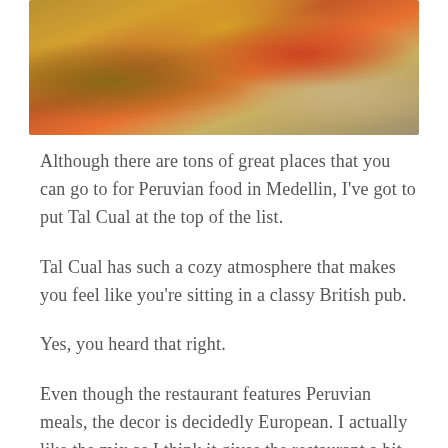[Figure (photo): Close-up photo of Peruvian food including potato wedges, tomatoes, onions, mushrooms, and green peppers]
Although there are tons of great places that you can go to for Peruvian food in Medellin, I've got to put Tal Cual at the top of the list.
Tal Cual has such a cozy atmosphere that makes you feel like you're sitting in a classy British pub.
Yes, you heard that right.
Even though the restaurant features Peruvian meals, the decor is decidedly European. I actually like the mix as I think it gives the restaurant a bit of personality.
There are tons of options on the menu and the meals here are big. I'd recommend sharing something with a